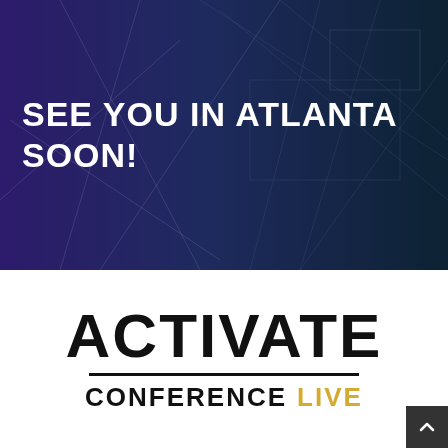[Figure (illustration): Dark gradient banner background transitioning from deep purple on the left to dark navy blue on the right, with faint geometric line patterns overlaid.]
SEE YOU IN ATLANTA SOON!
[Figure (logo): Activate Conference Live logo: large bold black ACTIVATE text, horizontal black divider line, then CONFERENCE in black and LIVE in gold/yellow, all uppercase.]